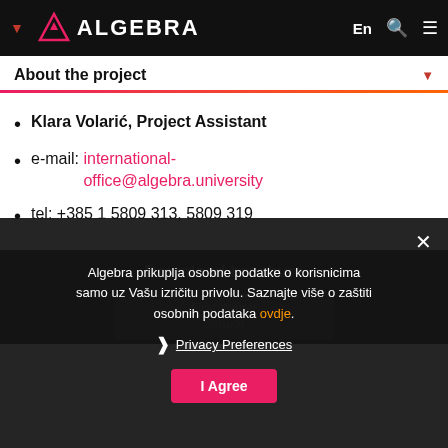ALGEBRA — navigation bar with En, search, menu icons
About the project
Klara Volarić, Project Assistant
e-mail: international-office@algebra.university
tel: +385 1 5809 313, 5809 319
Algebra prikuplja osobne podatke o korisnicima samo uz Vašu izričitu privolu. Saznajte više o zaštiti osobnih podataka ovdje.
Privacy Preferences
I Agree
Download brochure
[Figure (photo): First Winter School thumbnail image]